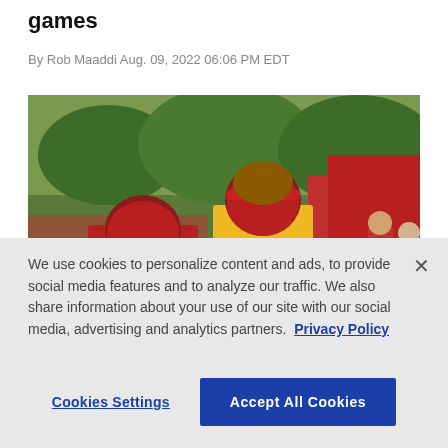games
By Rob Maaddi Aug. 09, 2022 06:06 PM EDT
[Figure (photo): Kansas City Chiefs players #25 Edwards-Helaire and #15 at training camp practice, with crowd in background]
We use cookies to personalize content and ads, to provide social media features and to analyze our traffic. We also share information about your use of our site with our social media, advertising and analytics partners. Privacy Policy
Cookies Settings   Accept All Cookies